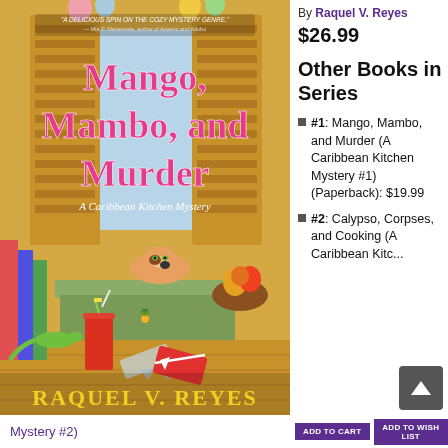[Figure (illustration): Book cover for 'Mango, Mambo, and Murder: A Caribbean Kitchen Mystery' by Raquel V. Reyes. Cover art shows a colorful tropical scene with a cat on a table near open shuttered windows, a red drink, scattered books, a lizard, and tropical decor. A blurb reads: 'A delicious spin on the cozy mystery genre.' - Mia P. Manansala, author of Arsenic and Adobo. Title text in pink/magenta, author name in yellow at bottom.]
By Raquel V. Reyes
$26.99
Other Books in Series
#1: Mango, Mambo, and Murder (A Caribbean Kitchen Mystery #1) (Paperback): $19.99
#2: Calypso, Corpses, and Cooking (A Caribbean Kitch...
Mystery #2)